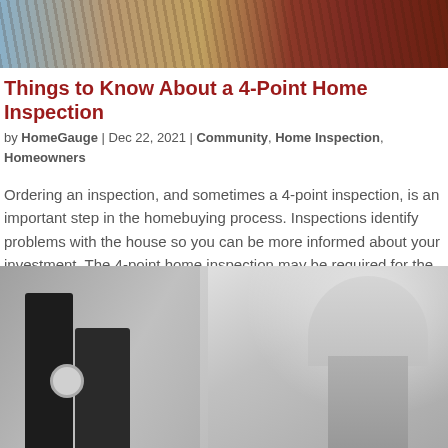[Figure (photo): Top banner photo showing plumbing tools and what appears to be a decorative rug or textured surface in warm brown and red tones]
Things to Know About a 4-Point Home Inspection
by HomeGauge | Dec 22, 2021 | Community, Home Inspection, Homeowners
Ordering an inspection, and sometimes a 4-point inspection, is an important step in the homebuying process. Inspections identify problems with the house so you can be more informed about your investment. The 4-point home inspection may be required for the insurance…
[Figure (photo): Photo of a person (seen from behind/side) in work attire examining or working on an electrical panel or device mounted on a wall]